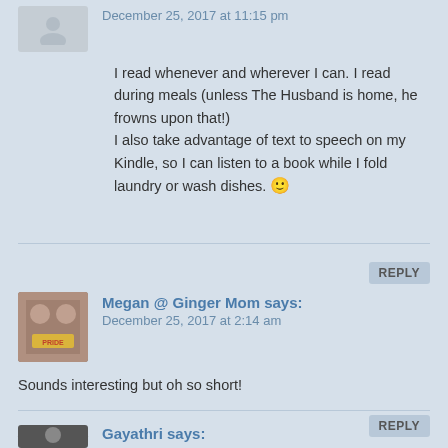December 25, 2017 at 11:15 pm
I read whenever and wherever I can. I read during meals (unless The Husband is home, he frowns upon that!) I also take advantage of text to speech on my Kindle, so I can listen to a book while I fold laundry or wash dishes. 🙂
REPLY
Megan @ Ginger Mom says:
December 25, 2017 at 2:14 am
Sounds interesting but oh so short!
REPLY
Gayathri says: